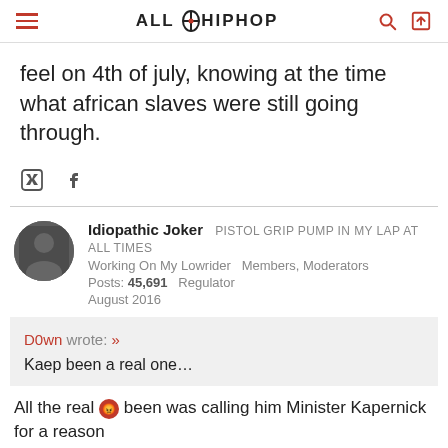ALL HIP HOP
feel on 4th of july, knowing at the time what african slaves were still going through.
Idiopathic Joker  PISTOL GRIP PUMP IN MY LAP AT ALL TIMES
Working On My Lowrider  Members, Moderators
Posts: 45,691  Regulator
August 2016
D0wn wrote: »
Kaep been a real one...

All the real 😡 been was calling him Minister Kapernick for a reason